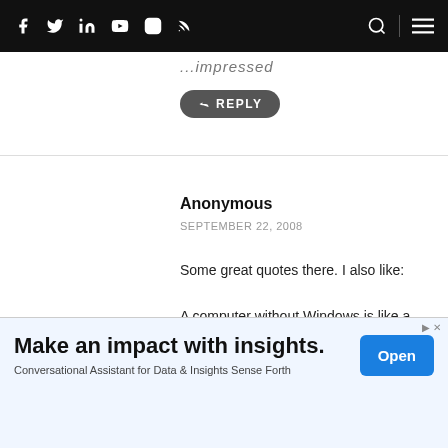Navigation bar with social icons (Facebook, Twitter, LinkedIn, YouTube, Instagram, RSS) and search/menu icons
...impressed
↩ REPLY
Anonymous
SEPTEMBER 22, 2008
Some great quotes there. I also like:
A computer without Windows is like a fish without a bicycle.
[Figure (other): Advertisement banner: Make an impact with insights. Conversational Assistant for Data & Insights Sense Forth. Open button.]